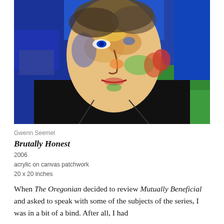[Figure (illustration): A colorful expressionist portrait painting of a man with a close-cropped head, wearing a dark turtleneck. The background is painted in shades of blue and green. The face features vivid multicolored brushstrokes in yellows, oranges, reds, and greens. Title: Brutally Honest by Gwenn Seemel.]
Gwenn Seemel
Brutally Honest
2006
acrylic on canvas patchwork
20 x 20 inches
When The Oregonian decided to review Mutually Beneficial and asked to speak with some of the subjects of the series, I was in a bit of a bind. After all, I had